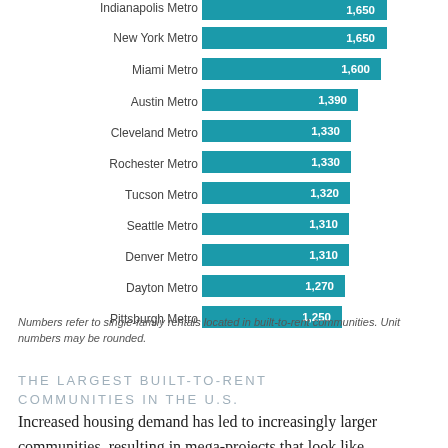[Figure (bar-chart): Metro Areas by Built-to-Rent Units]
Numbers refer to single-family rentals located in built-to-rent communities. Unit numbers may be rounded.
THE LARGEST BUILT-TO-RENT COMMUNITIES IN THE U.S.
Increased housing demand has led to increasingly larger communities, resulting in mega-projects that look like